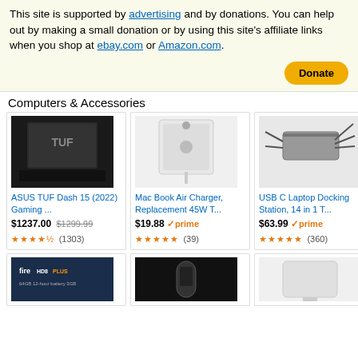This site is supported by advertising and by donations. You can help out by making a small donation or by using this site's affiliate links when you shop at ebay.com or Amazon.com.
[Figure (other): PayPal Donate button]
Computers & Accessories
[Figure (photo): ASUS TUF Dash 15 laptop product image]
ASUS TUF Dash 15 (2022) Gaming ...
$1237.00 $1299.99
★★★★½ (1303)
[Figure (photo): Mac Book Air Charger replacement 45W product image]
Mac Book Air Charger, Replacement 45W T...
$19.88 ✓prime
★★★★★ (39)
[Figure (photo): USB C Laptop Docking Station 14 in 1 product image]
USB C Laptop Docking Station, 14 in 1 T...
$63.99 ✓prime
★★★★★ (360)
[Figure (photo): Fire HD8 Plus tablet product image]
[Figure (photo): Motorola device product image]
[Figure (photo): White charger adapter product image]